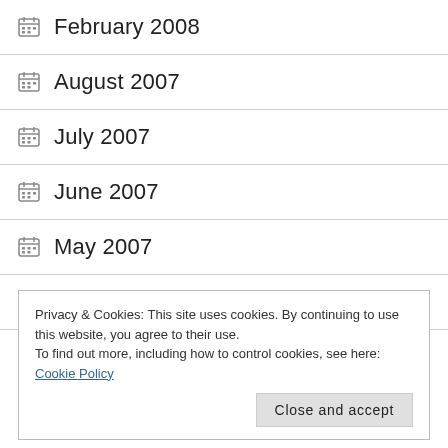February 2008
August 2007
July 2007
June 2007
May 2007
January 2007
September 2006
Privacy & Cookies: This site uses cookies. By continuing to use this website, you agree to their use. To find out more, including how to control cookies, see here: Cookie Policy
Close and accept